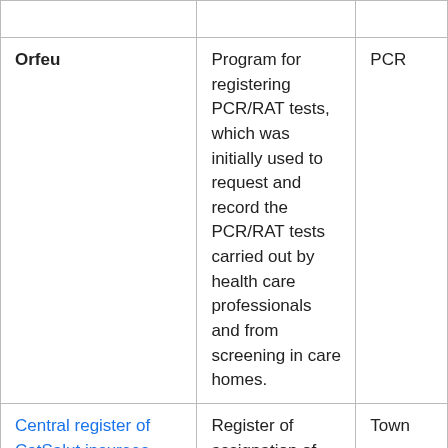|  |  |  |
| Orfeu | Program for registering PCR/RAT tests, which was initially used to request and record the PCR/RAT tests carried out by health care professionals and from screening in care homes. | PCR |
| Central register of CatSalut insurees | Register of assignation of | Town |